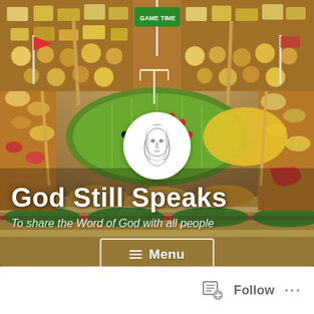[Figure (photo): A food stadium made of sandwiches, crackers, chips, and snacks arranged to look like a football stadium, with a green cheese field in the center. Colorful M&Ms or olives are placed as players. Breadstick goal posts and red flag decorations are visible. A circular avatar portrait (line drawing of a woman) overlays the center. Bold white text reads 'God Still Speaks' with subtitle 'To share the Word of God with all people'. A Menu button with hamburger icon is shown near the bottom.]
God Still Speaks
To share the Word of God with all people
≡ Menu
Follow
...